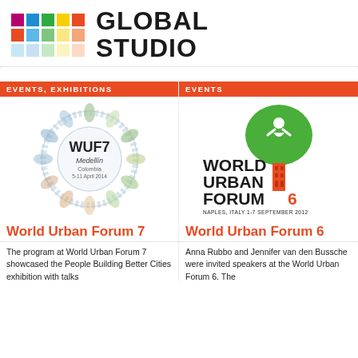[Figure (logo): Global Studio logo with colorful grid of squares and bold text GLOBAL STUDIO]
EVENTS, EXHIBITIONS
EVENTS
[Figure (logo): WUF7 Medellin Colombia 5-11 April 2014 circular illustrated logo]
[Figure (logo): World Urban Forum 6 Naples, Italy 1-7 September 2012 logo with green tree and red building]
World Urban Forum 7
World Urban Forum 6
The program at World Urban Forum 7 showcased the People Building Better Cities exhibition with talks
Anna Rubbo and Jennifer van den Bussche were invited speakers at the World Urban Forum 6. The